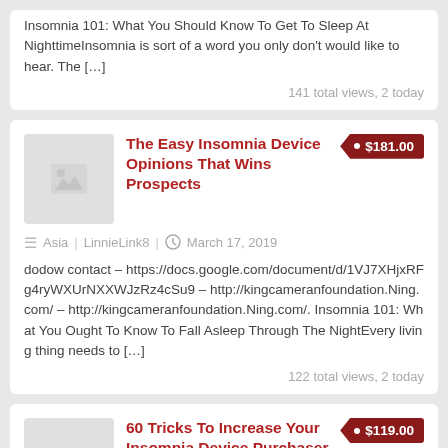Insomnia 101: What You Should Know To Get To Sleep At NighttimeInsomnia is sort of a word you only don't would like to hear. The […]
141 total views, 2 today
The Easy Insomnia Device Opinions That Wins Prospects
• $181.00
Asia   LinnieLink8   March 17, 2019
dodow contact – https://docs.google.com/document/d/1VJ7XHjxRFg4ryWXUrNXXWJzRz4cSu9 – http://kingcameranfoundation.Ning.com/ – http://kingcameranfoundation.Ning.com/. Insomnia 101: What You Ought To Know To Fall Asleep Through The NightEvery living thing needs to […]
122 total views, 2 today
60 Tricks To Increase Your Insomnia Device Purchaser
• $119.00